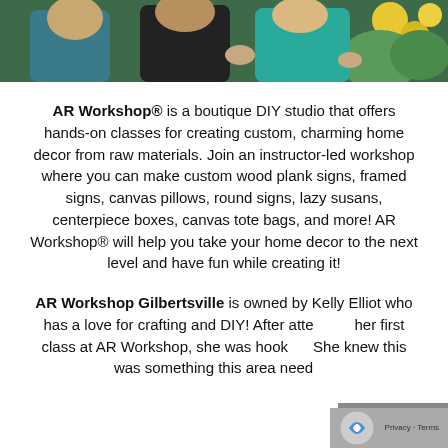[Figure (photo): Group photo of people outdoors with yellow flowers in background, partial view showing torsos]
AR Workshop® is a boutique DIY studio that offers hands-on classes for creating custom, charming home decor from raw materials. Join an instructor-led workshop where you can make custom wood plank signs, framed signs, canvas pillows, round signs, lazy susans, centerpiece boxes, canvas tote bags, and more! AR Workshop® will help you take your home decor to the next level and have fun while creating it!
AR Workshop Gilbertsville is owned by Kelly Elliott who has a love for crafting and DIY! After attending her first class at AR Workshop, she was hooked. She knew this was something this area need...